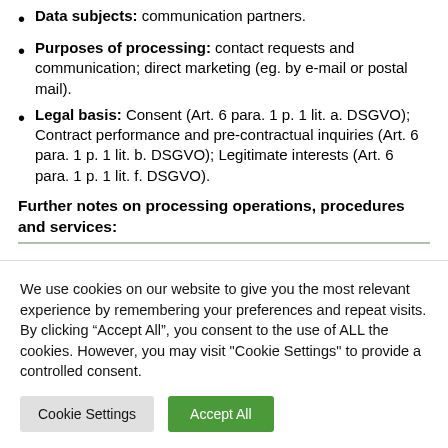Data subjects: communication partners.
Purposes of processing: contact requests and communication; direct marketing (eg. by e-mail or postal mail).
Legal basis: Consent (Art. 6 para. 1 p. 1 lit. a. DSGVO); Contract performance and pre-contractual inquiries (Art. 6 para. 1 p. 1 lit. b. DSGVO); Legitimate interests (Art. 6 para. 1 p. 1 lit. f. DSGVO).
Further notes on processing operations, procedures and services:
We use cookies on our website to give you the most relevant experience by remembering your preferences and repeat visits. By clicking “Accept All”, you consent to the use of ALL the cookies. However, you may visit "Cookie Settings" to provide a controlled consent.